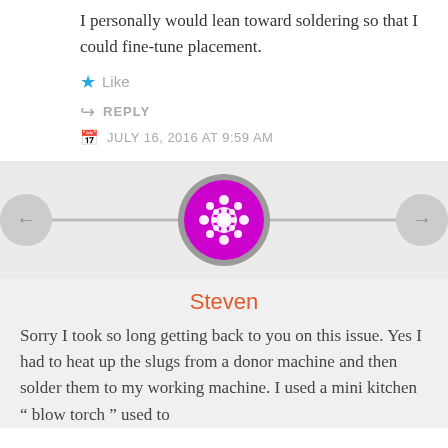I personally would lean toward soldering so that I could fine-tune placement.
Like
REPLY
JULY 16, 2016 AT 9:59 AM
[Figure (illustration): User avatar circle with magenta/pink decorative mandala-like pattern on grey border ring, navigation arrows on left and right]
Steven
Sorry I took so long getting back to you on this issue. Yes I had to heat up the slugs from a donor machine and then solder them to my working machine. I used a mini kitchen " blow torch " used to